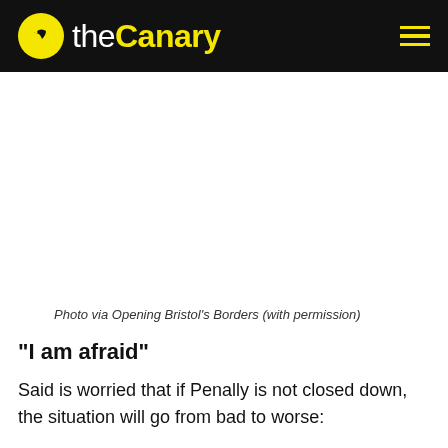the Canary
[Figure (photo): Photo placeholder area (white space where image would appear)]
Photo via Opening Bristol's Borders (with permission)
“I am afraid”
Said is worried that if Penally is not closed down, the situation will go from bad to worse:
I heard that in Napier barracks in Kent some refugees